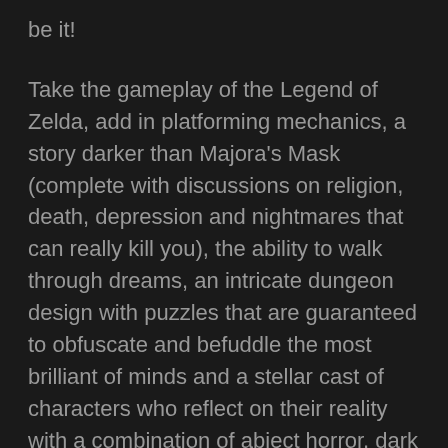be it!
Take the gameplay of the Legend of Zelda, add in platforming mechanics, a story darker than Majora's Mask (complete with discussions on religion, death, depression and nightmares that can really kill you), the ability to walk through dreams, an intricate dungeon design with puzzles that are guaranteed to obfuscate and befuddle the most brilliant of minds and a stellar cast of characters who reflect on their reality with a combination of abject horror, dark humor and apathy. That is Alundra in a nutshell. It's quite difficult to complete thanks to the difficult puzzles, but the game's story is great and the writing is well done! And while Ronan is no Sephiroth, he's still an interesting villian in that he impedes Alundra's